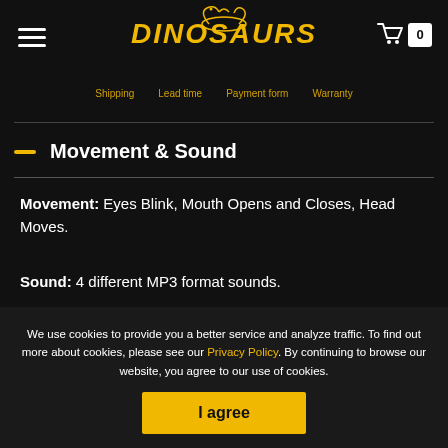DINOSAURS
Movement & Sound
Movement: Eyes Blink, Mouth Opens and Closes, Head Moves.
Sound: 4 different MP3 format sounds.
We use cookies to provide you a better service and analyze traffic. To find out more about cookies, please see our Privacy Policy. By continuing to browse our website, you agree to our use of cookies.